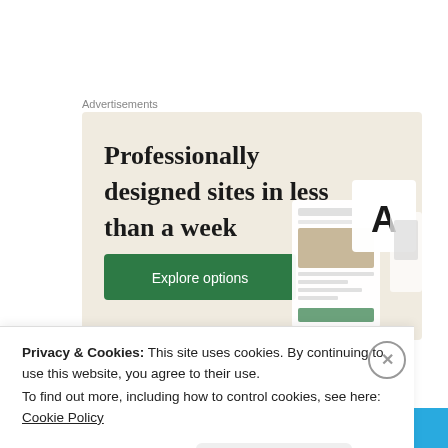Advertisements
[Figure (illustration): Advertisement banner with beige background showing 'Professionally designed sites in less than a week' headline with 'Explore options' green button and website/app mockup devices on the right]
Sunday
Privacy & Cookies: This site uses cookies. By continuing to use this website, you agree to their use.
To find out more, including how to control cookies, see here: Cookie Policy
Close and accept